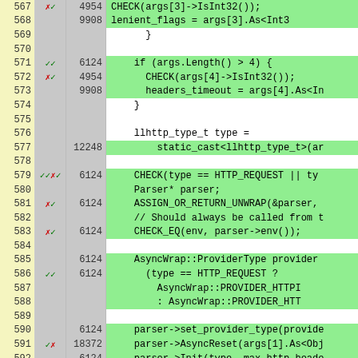[Figure (screenshot): Code coverage viewer showing line numbers, coverage marks, execution counts, and C++ source code lines 567-592. Green background indicates covered lines, white background indicates uncovered lines. Red X marks indicate missed branches, green checkmarks indicate covered branches.]